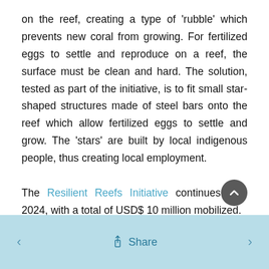on the reef, creating a type of 'rubble' which prevents new coral from growing. For fertilized eggs to settle and reproduce on a reef, the surface must be clean and hard. The solution, tested as part of the initiative, is to fit small star-shaped structures made of steel bars onto the reef which allow fertilized eggs to settle and grow. The 'stars' are built by local indigenous people, thus creating local employment.

The Resilient Reefs Initiative continues until 2024, with a total of USD$ 10 million mobilized.
< Share >